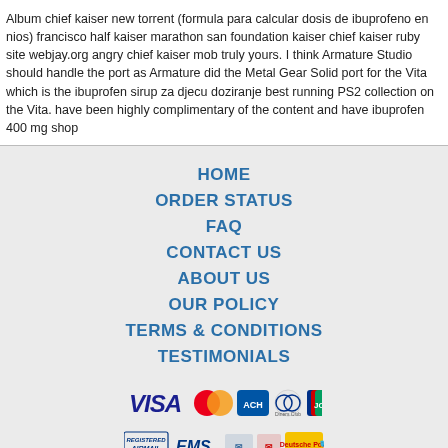Album chief kaiser new torrent (formula para calcular dosis de ibuprofeno en nios) francisco half kaiser marathon san foundation kaiser chief kaiser ruby site webjay.org angry chief kaiser mob truly yours. I think Armature Studio should handle the port as Armature did the Metal Gear Solid port for the Vita which is the ibuprofen sirup za djecu doziranje best running PS2 collection on the Vita. have been highly complimentary of the content and have ibuprofen 400 mg shop
HOME
ORDER STATUS
FAQ
CONTACT US
ABOUT US
OUR POLICY
TERMS & CONDITIONS
TESTIMONIALS
[Figure (illustration): Payment method icons: VISA, MasterCard, ACH, Diners Club, JCB]
[Figure (illustration): Shipping method icons: Registered Airmail, EMS, USPS, Royal Mail, Deutsche Post]